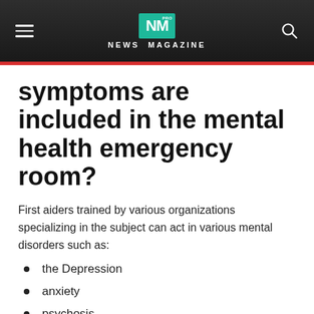NM PRO NEWS MAGAZINE
symptoms are included in the mental health emergency room?
First aiders trained by various organizations specializing in the subject can act in various mental disorders such as:
the Depression
anxiety
psychosis
addiction problems
According to the organization DSSM Fora of psychiatry experts and...